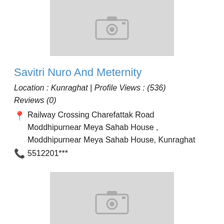[Figure (photo): Placeholder photo thumbnail with camera icon for Savitri Nuro And Meternity listing]
Savitri Nuro And Meternity
Location : Kunraghat | Profile Views : (536)
Reviews (0)
Railway Crossing Charefattak Road Moddhipurnear Meya Sahab House , Moddhipurnear Meya Sahab House, Kunraghat
5512201***
[Figure (photo): Placeholder photo thumbnail with camera icon for Shri Krishna Hospital & Urology Centre listing]
Shri Krishna Hospital & Urology Centre
Location : Bilandpur | Profile Views : (639)
Reviews (0)